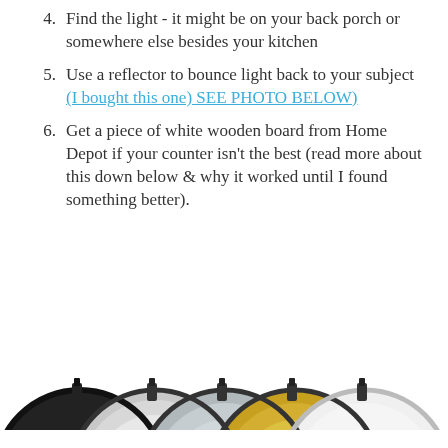4. Find the light - it might be on your back porch or somewhere else besides your kitchen
5. Use a reflector to bounce light back to your subject (I bought this one) SEE PHOTO BELOW)
6. Get a piece of white wooden board from Home Depot if your counter isn't the best (read more about this down below & why it worked until I found something better).
[Figure (photo): Photo of a multi-panel circular reflector set (5-in-1) with silver, gold, white, and black panels, fanned out to show each surface, with black handles/clips visible at top.]